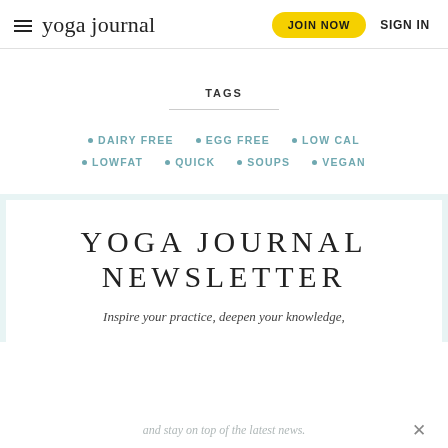yoga journal | JOIN NOW | SIGN IN
TAGS
DAIRY FREE
EGG FREE
LOW CAL
LOWFAT
QUICK
SOUPS
VEGAN
YOGA JOURNAL NEWSLETTER
Inspire your practice, deepen your knowledge, and stay on top of the latest news.